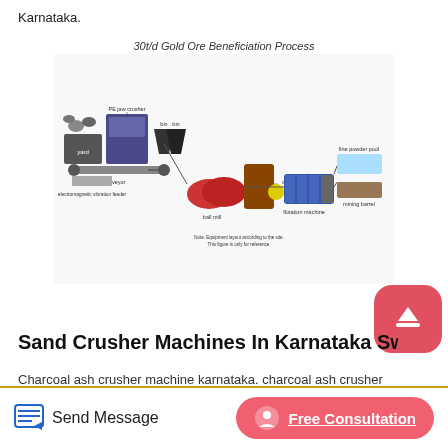Karnataka.
[Figure (schematic): 30t/d Gold Ore Beneficiation Process flow diagram showing equipment layout: yard, PE jaw crusher, bin, belt conveyor, electromagnetic vibration feeder, bin, ball mill, bin, classifier, flotation machine, mining barrel, fine powder pool. Note: Equipment layout according to the site. This figure is only for reference.]
Sand Crusher Machines In Karnataka Sweden
Charcoal ash crusher machine karnataka. charcoal ash crusher machine karnataka Oct 14, 2013 coconut shell crushing machine dealers in bangalore karnataka barite, bentonite, clinker, dolomite, earth, feldspar, fluorspar, fly ash, garnet, 4tph roller crusher in karnatakaHenan Mining Heavy Machinery Co . Oline Chat.